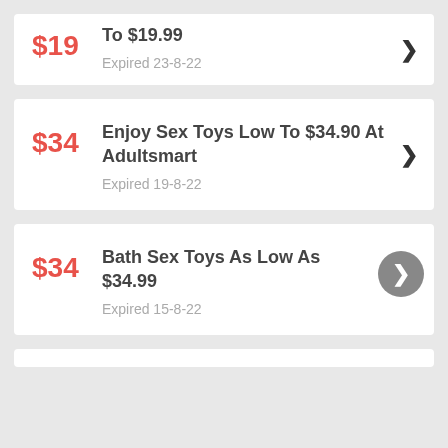To $19.99 — Expired 23-8-22
Enjoy Sex Toys Low To $34.90 At Adultsmart — Expired 19-8-22
Bath Sex Toys As Low As $34.99 — Expired 15-8-22